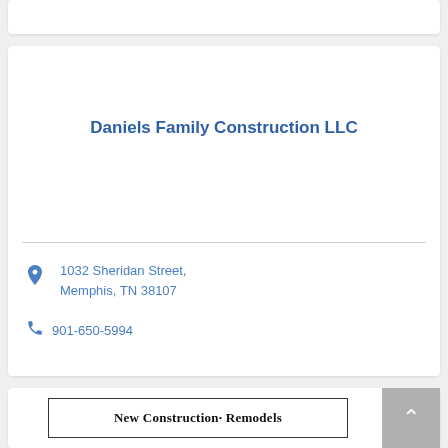Daniels Family Construction LLC
1032 Sheridan Street, Memphis, TN 38107
901-650-5994
New Construction· Remodels